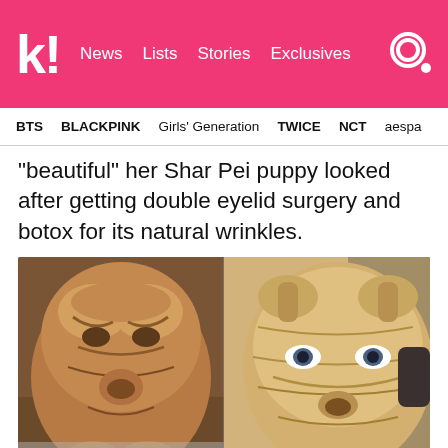k! News Lists Stories Exclusives
BTS BLACKPINK Girls' Generation TWICE NCT aespa
“beautiful” her Shar Pei puppy looked after getting double eyelid surgery and botox for its natural wrinkles.
[Figure (photo): Two side-by-side photos of a Shar Pei puppy. Left photo shows the puppy before surgery with heavy wrinkles obscuring its eyes. Right photo shows the puppy after surgery with visible open eyes and fewer obscuring folds.]
Source: Star Planet